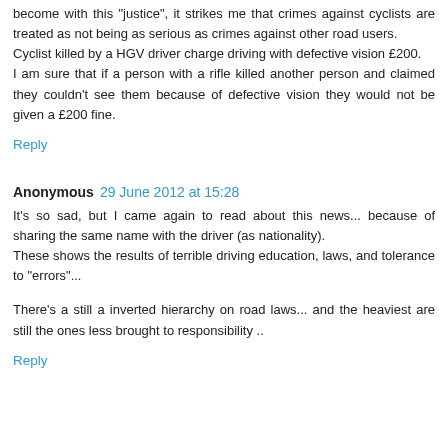become with this "justice", it strikes me that crimes against cyclists are treated as not being as serious as crimes against other road users.
Cyclist killed by a HGV driver charge driving with defective vision £200.
I am sure that if a person with a rifle killed another person and claimed they couldn't see them because of defective vision they would not be given a £200 fine.
Reply
Anonymous 29 June 2012 at 15:28
It's so sad, but I came again to read about this news... because of sharing the same name with the driver (as nationality).
These shows the results of terrible driving education, laws, and tolerance to "errors"...
There's a still a inverted hierarchy on road laws... and the heaviest are still the ones less brought to responsibility ..
Reply